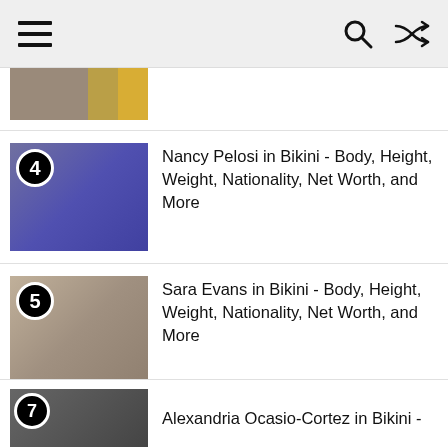Navigation header with hamburger menu, search icon, and shuffle icon
[Figure (photo): Partial thumbnail of item 3, partially visible at top of content area]
4 Nancy Pelosi in Bikini - Body, Height, Weight, Nationality, Net Worth, and More
5 Sara Evans in Bikini - Body, Height, Weight, Nationality, Net Worth, and More
6 Amie Yancey in Bikini - Body, Height, Weight, Nationality, Net Worth, and More
7 Alexandria Ocasio-Cortez in Bikini - (partial)